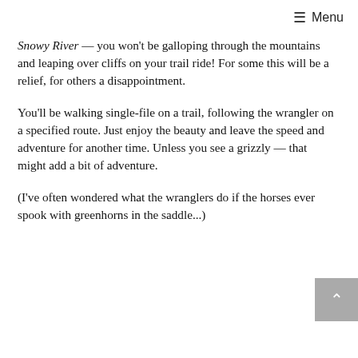≡ Menu
Snowy River — you won't be galloping through the mountains and leaping over cliffs on your trail ride! For some this will be a relief, for others a disappointment.
You'll be walking single-file on a trail, following the wrangler on a specified route. Just enjoy the beauty and leave the speed and adventure for another time. Unless you see a grizzly — that might add a bit of adventure.
(I've often wondered what the wranglers do if the horses ever spook with greenhorns in the saddle...)